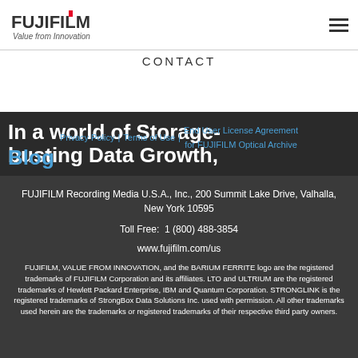[Figure (logo): Fujifilm logo with 'Value from Innovation' tagline]
CONTACT
In a world of Storage-busting Data Growth,
Privacy Policy | Terms of Use | End User License Agreement for FUJIFILM Optical Archive
Blog
FUJIFILM Recording Media U.S.A., Inc., 200 Summit Lake Drive, Valhalla, New York 10595
Toll Free:  1 (800) 488-3854
www.fujifilm.com/us
FUJIFILM, VALUE FROM INNOVATION, and the BARIUM FERRITE logo are the registered trademarks of FUJIFILM Corporation and its affiliates. LTO and ULTRIUM are the registered trademarks of Hewlett Packard Enterprise, IBM and Quantum Corporation. STRONGLINK is the registered trademarks of StrongBox Data Solutions Inc. used with permission. All other trademarks used herein are the trademarks or registered trademarks of their respective third party owners.